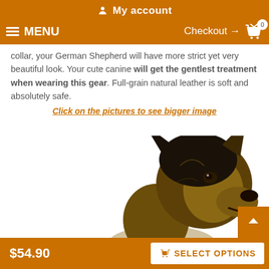My account
MENU  Checkout → 0
collar, your German Shepherd will have more strict yet very beautiful look. Your cute canine will get the gentlest treatment when wearing this gear. Full-grain natural leather is soft and absolutely safe.
Click on the pictures to see bigger image
[Figure (photo): Close-up photo of a German Shepherd dog looking upward with mouth open, on a white background]
$54.90  SELECT OPTIONS